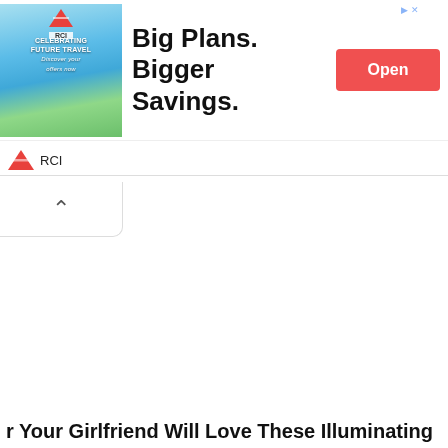[Figure (screenshot): RCI travel advertisement banner: 'Big Plans. Bigger Savings.' with an image of people at a pool, RCI logo, and an Open button]
[Figure (screenshot): Collapse/minimize chevron button below the ad banner]
Your Girlfriend Will Love These Illuminating